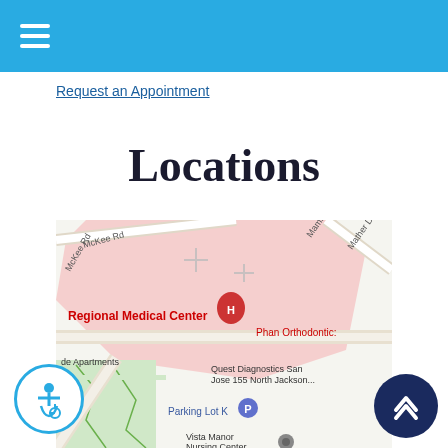Navigation menu bar
Request an Appointment
Locations
[Figure (map): Google Maps screenshot showing the area around Regional Medical Center in San Jose, CA. Visible labels include McKee Rd, Mather D, Regional Medical Center (with hospital H pin), Phan Orthodontics, Quest Diagnostics San Jose 155 North Jackson..., Parking Lot K (with parking P pin), Vista Manor Nursing Center, and de Apartments.]